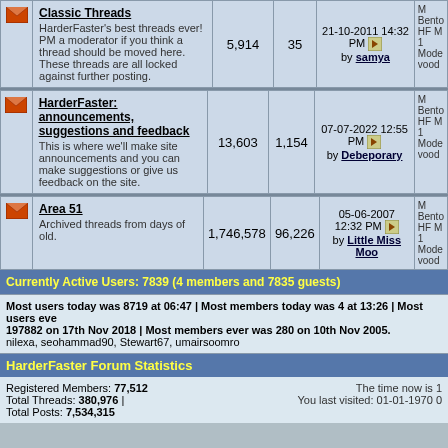|  | Forum | Threads | Posts | Last Post | Moderators |
| --- | --- | --- | --- | --- | --- |
| [icon] | Classic Threads
HarderFaster's best threads ever! PM a moderator if you think a thread should be moved here. These threads are all locked against further posting. | 5,914 | 35 | 21-10-2011 14:32 PM by samya | Mo Bento HF M 1 Mode vood |
| [icon] | HarderFaster: announcements, suggestions and feedback
This is where we'll make site announcements and you can make suggestions or give us feedback on the site. | 13,603 | 1,154 | 07-07-2022 12:55 PM by Debeporary | Mo Bento HF M 1 Mode vood |
| [icon] | Area 51
Archived threads from days of old. | 1,746,578 | 96,226 | 05-06-2007 12:32 PM by Little Miss Moo | Mo Bento HF M 1 Mode vood |
Currently Active Users: 7839 (4 members and 7835 guests)
Most users today was 8719 at 06:47 | Most members today was 4 at 13:26 | Most users ever was 197882 on 17th Nov 2018 | Most members ever was 280 on 10th Nov 2005.
nilexa, seohammad90, Stewart67, umairsoomro
HarderFaster Forum Statistics
Registered Members: 77,512
Total Threads: 380,976 |
Total Posts: 7,534,315
The time now is 1
You last visited: 01-01-1970 0